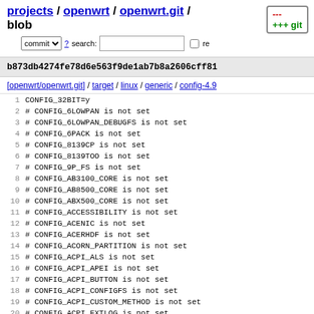projects / openwrt / openwrt.git / blob
commit ? search: re
b873db4274fe78d6e563f9de1ab7b8a2606cff81
[openwrt/openwrt.git] / target / linux / generic / config-4.9
1 CONFIG_32BIT=y
2 # CONFIG_6LOWPAN is not set
3 # CONFIG_6LOWPAN_DEBUGFS is not set
4 # CONFIG_6PACK is not set
5 # CONFIG_8139CP is not set
6 # CONFIG_8139TOO is not set
7 # CONFIG_9P_FS is not set
8 # CONFIG_AB3100_CORE is not set
9 # CONFIG_AB8500_CORE is not set
10 # CONFIG_ABX500_CORE is not set
11 # CONFIG_ACCESSIBILITY is not set
12 # CONFIG_ACENIC is not set
13 # CONFIG_ACERHDF is not set
14 # CONFIG_ACORN_PARTITION is not set
15 # CONFIG_ACPI_ALS is not set
16 # CONFIG_ACPI_APEI is not set
17 # CONFIG_ACPI_BUTTON is not set
18 # CONFIG_ACPI_CONFIGFS is not set
19 # CONFIG_ACPI_CUSTOM_METHOD is not set
20 # CONFIG_ACPI_EXTLOG is not set
21 # CONFIG_ACPI_HED is not set